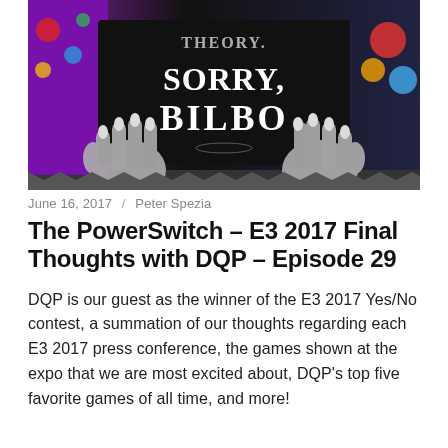[Figure (illustration): Illustrated banner image showing cartoon hands gripping a surface with a black t-shirt/banner reading 'SORRY, BILBO' in stylized lettering, with colorful background elements]
June 16, 2017 / Peter Spezia
The PowerSwitch – E3 2017 Final Thoughts with DQP – Episode 29
DQP is our guest as the winner of the E3 2017 Yes/No contest, a summation of our thoughts regarding each E3 2017 press conference, the games shown at the expo that we are most excited about, DQP's top five favorite games of all time, and more!